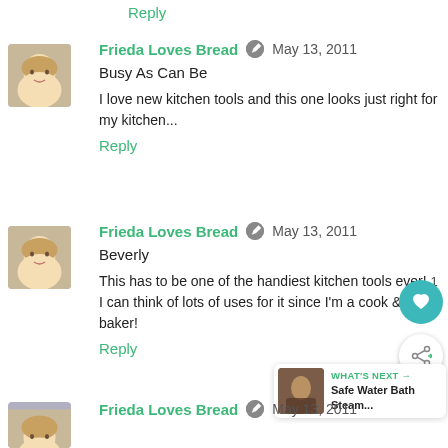Reply
Frieda Loves Bread  May 13, 2011
Busy As Can Be
I love new kitchen tools and this one looks just right for my kitchen...
Reply
Frieda Loves Bread  May 13, 2011
Beverly
This has to be one of the handiest kitchen tools ever! I can think of lots of uses for it since I'm a cook & a baker!
Reply
Frieda Loves Bread  May 13, 2011